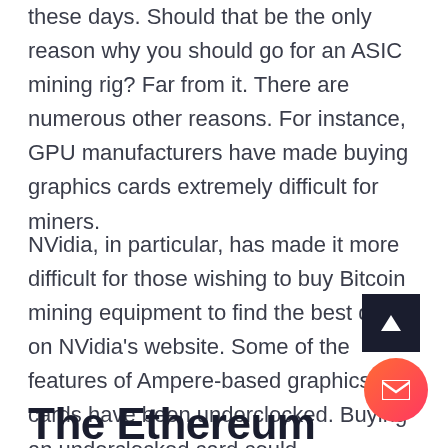these days. Should that be the only reason why you should go for an ASIC mining rig? Far from it. There are numerous other reasons. For instance, GPU manufacturers have made buying graphics cards extremely difficult for miners.
NVidia, in particular, has made it more difficult for those wishing to buy Bitcoin mining equipment to find the best deals on NVidia's website. Some of the features of Ampere-based graphics cards have been underclocked. Buying an underclocked card could compromise your mining operation significantly.
The Ethereum